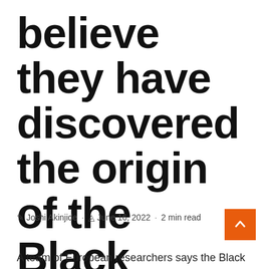believe they have discovered the origin of the Black Death
✎ Joshi Akinjide · ⊙ June 16, 2022 · 2 min read
A team of European researchers says the Black Death,